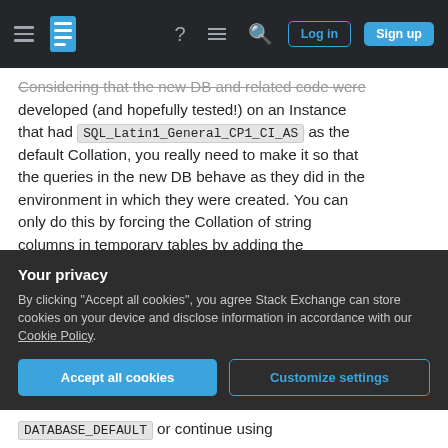Stack Exchange navigation bar with hamburger menu, logo, help, chat, search icons, Login and Sign up buttons
Considering that the new DB and related code were developed (and hopefully tested!) on an Instance that had SQL_Latin1_General_CP1_CI_AS as the default Collation, you really need to make it so that the queries in the new DB behave as they did in the environment in which they were created. You can only do this by forcing the Collation of string columns in temporary tables by adding the COLLATE clause (as you doing). Well, technically speaking you can change the temporary tables into table variables since their default Collation will be taken from the current database, but that is a more
Your privacy
By clicking "Accept all cookies", you agree Stack Exchange can store cookies on your device and disclose information in accordance with our Cookie Policy.
Accept all cookies   Customize settings
DATABASE_DEFAULT or continue using